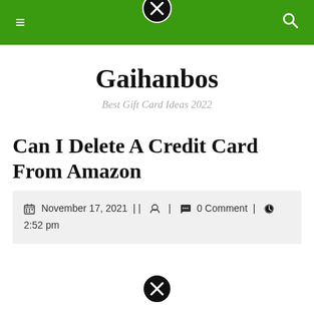Gaihanbos navigation bar
Gaihanbos
Best Gift Card Ideas 2022
Can I Delete A Credit Card From Amazon
November 17, 2021 | | 🔒 | 💬 0 Comment | 🕐 2:52 pm